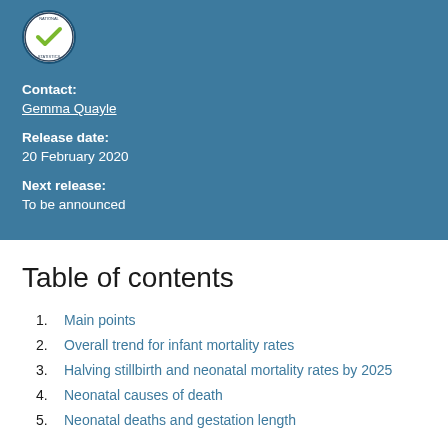[Figure (logo): National Statistics circular logo with blue border and green checkmark]
Contact:
Gemma Quayle
Release date:
20 February 2020
Next release:
To be announced
Table of contents
1. Main points
2. Overall trend for infant mortality rates
3. Halving stillbirth and neonatal mortality rates by 2025
4. Neonatal causes of death
5. Neonatal deaths and gestation length